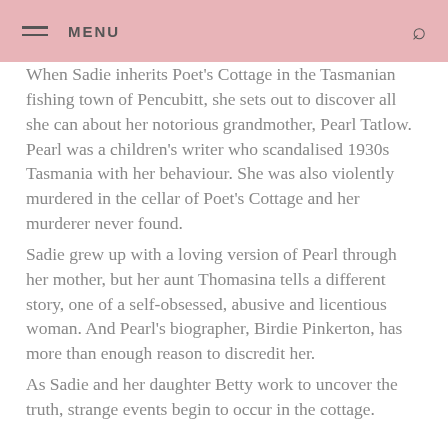MENU
When Sadie inherits Poet's Cottage in the Tasmanian fishing town of Pencubitt, she sets out to discover all she can about her notorious grandmother, Pearl Tatlow. Pearl was a children's writer who scandalised 1930s Tasmania with her behaviour. She was also violently murdered in the cellar of Poet's Cottage and her murderer never found.
Sadie grew up with a loving version of Pearl through her mother, but her aunt Thomasina tells a different story, one of a self-obsessed, abusive and licentious woman. And Pearl's biographer, Birdie Pinkerton, has more than enough reason to discredit her.
As Sadie and her daughter Betty work to uncover the truth, strange events begin to occur in the cottage.